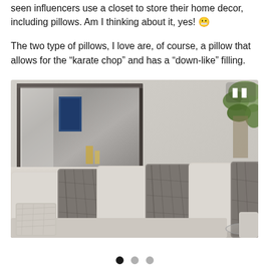seen influencers use a closet to store their home decor, including pillows. Am I thinking about it, yes! 😬
The two type of pillows, I love are, of course, a pillow that allows for the "karate chop" and has a "down-like" filling.
[Figure (photo): A living room sofa with multiple decorative pillows — cream/beige solid pillows and grey patterned pillows. A large rectangular mirror with a dark frame hangs on the wall above the sofa. A plant is visible in the upper right corner. A glass side table is partially visible at the lower right. A pause button icon is overlaid on the upper right of the image, indicating a video slideshow.]